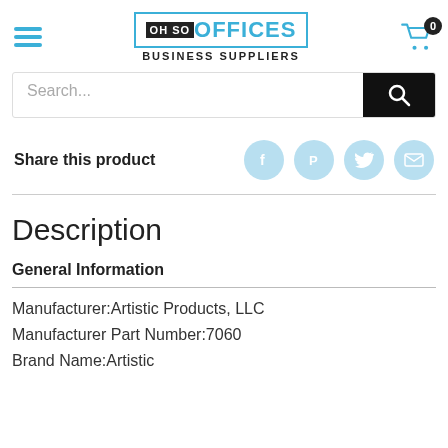[Figure (logo): Oh So Offices Business Suppliers logo with hamburger menu and shopping cart with badge 0]
[Figure (screenshot): Search bar with search button]
Share this product
Description
General Information
Manufacturer:Artistic Products, LLC
Manufacturer Part Number:7060
Brand Name:Artistic